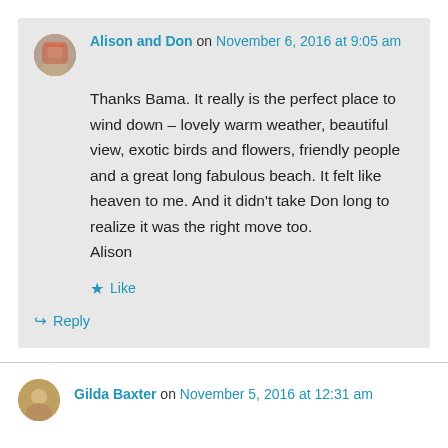Alison and Don on November 6, 2016 at 9:05 am
Thanks Bama. It really is the perfect place to wind down – lovely warm weather, beautiful view, exotic birds and flowers, friendly people and a great long fabulous beach. It felt like heaven to me. And it didn't take Don long to realize it was the right move too.
Alison
Like
Reply
Gilda Baxter on November 5, 2016 at 12:31 am